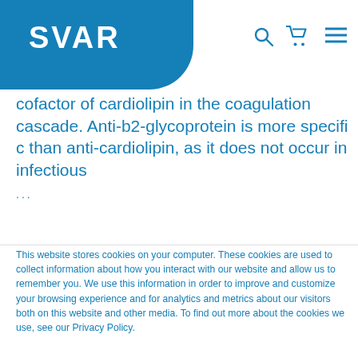[Figure (logo): SVAR logo in white text on blue rounded rectangle background]
cofactor of cardiolipin in the coagulation cascade. Anti-b2-glycoprotein is more specifi c than anti-cardiolipin, as it does not occur in infectious ...
This website stores cookies on your computer. These cookies are used to collect information about how you interact with our website and allow us to remember you. We use this information in order to improve and customize your browsing experience and for analytics and metrics about our visitors both on this website and other media. To find out more about the cookies we use, see our Privacy Policy.
If you decline, your information won't be tracked when you visit this website. A single cookie will be used in your browser to remember your preference not to be tracked.
Accept
Decline